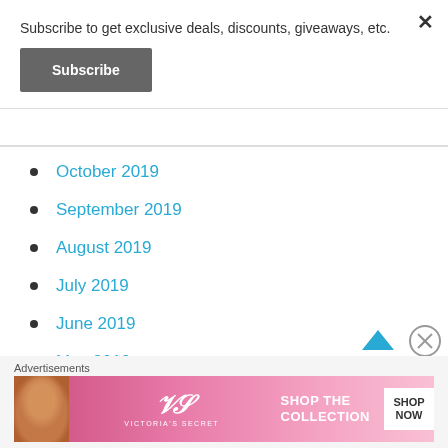Subscribe to get exclusive deals, discounts, giveaways, etc.
Subscribe
October 2019
September 2019
August 2019
July 2019
June 2019
May 2019
April 2019
Advertisements
[Figure (photo): Victoria's Secret advertisement banner with a model, VS logo, 'SHOP THE COLLECTION' text and 'SHOP NOW' button]